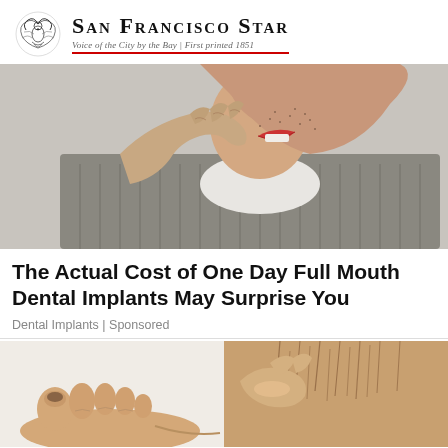San Francisco Star — Voice of the City by the Bay | First printed 1851
[Figure (photo): Close-up of a man biting his finger/knuckle near his mouth, showing teeth and stubble, wearing a grey shirt]
The Actual Cost of One Day Full Mouth Dental Implants May Surprise You
Dental Implants | Sponsored
[Figure (photo): Split image showing left side: bare feet with toenails, right side: a hand/arm area with skin close-up]